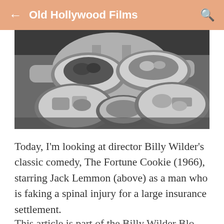Old Hollywood Films
[Figure (photo): Black and white photograph of a person carrying multiple large plates/bowls of food, likely a waiter or server in a restaurant setting.]
Today, I'm looking at director Billy Wilder's classic comedy, The Fortune Cookie (1966), starring Jack Lemmon (above) as a man who is faking a spinal injury for a large insurance settlement.
This article is part of the Billy Wilder Blogathon